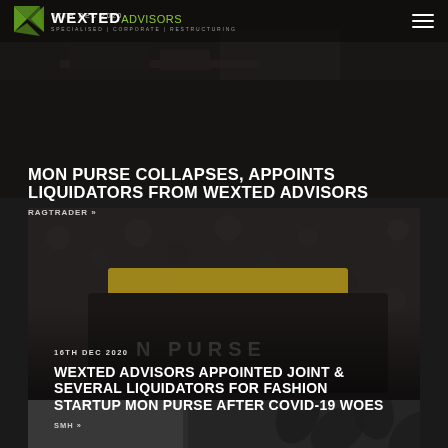WEXTED advisors
[Figure (photo): Dark background photo of office/desk setting — top news card]
17TH DEC 2020
MON PURSE COLLAPSES, APPOINTS LIQUIDATORS FROM WEXTED ADVISORS
RAGTRADER »
[Figure (photo): Close-up dark photo of a black leather Mon Purse handbag with gold lettering]
16TH DEC 2020
WEXTED ADVISORS APPOINTED JOINT & SEVERAL LIQUIDATORS FOR FASHION STARTUP MON PURSE AFTER COVID-19 WOES
SMH »
[Figure (photo): Partial bottom card with dark patterned background — partially visible]